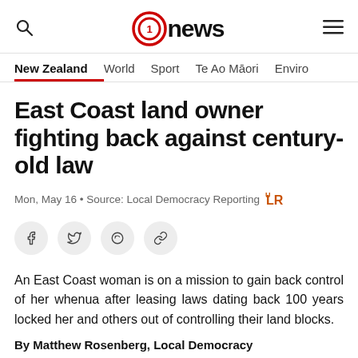1 News — navigation header with search, logo, and menu
New Zealand | World | Sport | Te Ao Māori | Enviro
East Coast land owner fighting back against century-old law
Mon, May 16 • Source: Local Democracy Reporting
An East Coast woman is on a mission to gain back control of her whenua after leasing laws dating back 100 years locked her and others out of controlling their land blocks.
By Matthew Rosenberg, Local Democracy